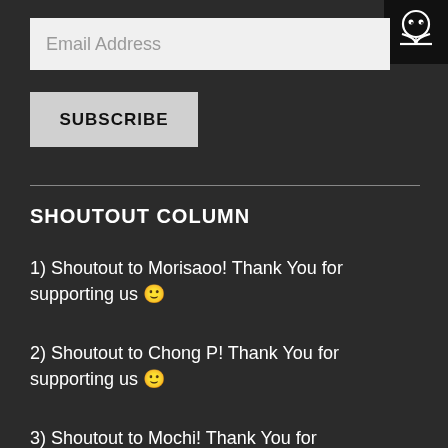[Figure (logo): Black square logo with a white cartoon face above an open book icon]
Email Address
SUBSCRIBE
SHOUTOUT COLUMN
1) Shoutout to Morisaoo! Thank You for supporting us 🙂
2) Shoutout to Chong P! Thank You for supporting us 🙂
3) Shoutout to Mochi! Thank You for